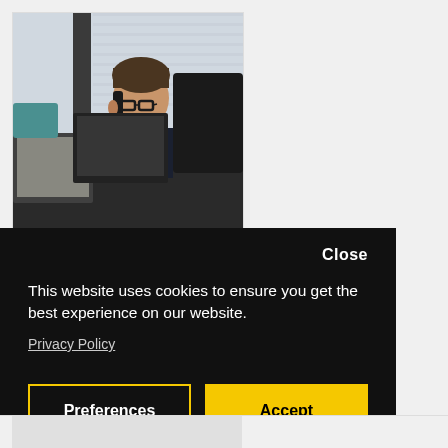[Figure (photo): Office worker talking on phone while looking at computer monitors in an office environment with blinds in background]
This website uses cookies to ensure you get the best experience on our website. Privacy Policy
Close
Preferences
Accept